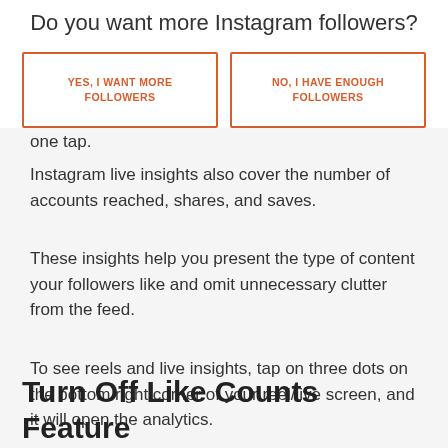Do you want more Instagram followers?
YES, I WANT MORE FOLLOWERS
NO, I HAVE ENOUGH FOLLOWERS
one tap.
Instagram live insights also cover the number of accounts reached, shares, and saves.
These insights help you present the type of content your followers like and omit unnecessary clutter from the feed.
To see reels and live insights, tap on three dots on the bottom right corner of your reel/live screen, and it will open the analytics.
Turn Off Like Counts Feature